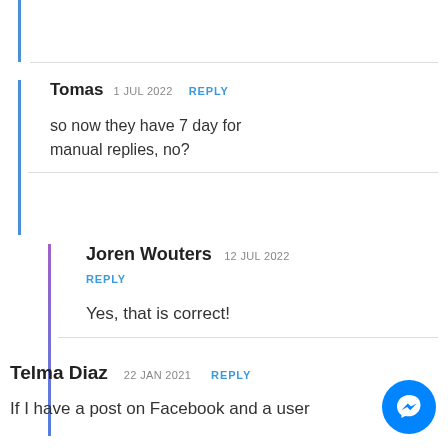Tomas 1 JUL 2022 REPLY
so now they have 7 day for manual replies, no?
Joren Wouters 12 JUL 2022 REPLY
Yes, that is correct!
Telma Diaz 22 JAN 2021 REPLY
If I have a post on Facebook and a user